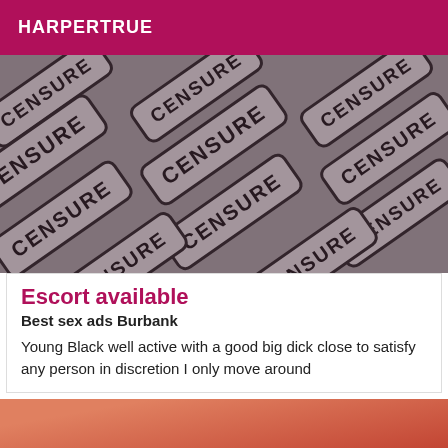HARPERTRUE
[Figure (photo): Censored image with multiple overlapping 'CENSURE' stamps/tiles arranged diagonally on a dark reddish-grey background]
Escort available
Best sex ads Burbank
Young Black well active with a good big dick close to satisfy any person in discretion I only move around
[Figure (photo): Partial photo showing a person in a red outfit, cropped at the bottom of the page]